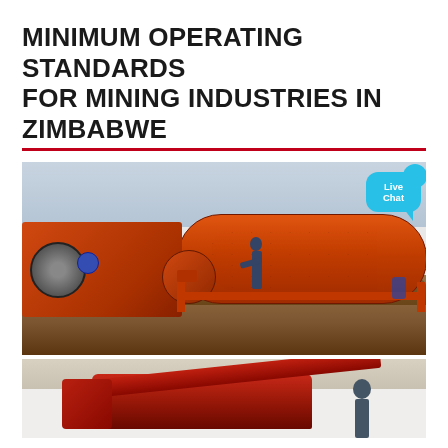MINIMUM OPERATING STANDARDS FOR MINING INDUSTRIES IN ZIMBABWE
[Figure (photo): Industrial mining equipment including a large orange ball mill cylinder and associated machinery on a mining site, with a worker visible. A 'Live Chat' bubble overlay is visible in the upper right. Below is a partial view of another piece of red mining machinery with a person standing nearby.]